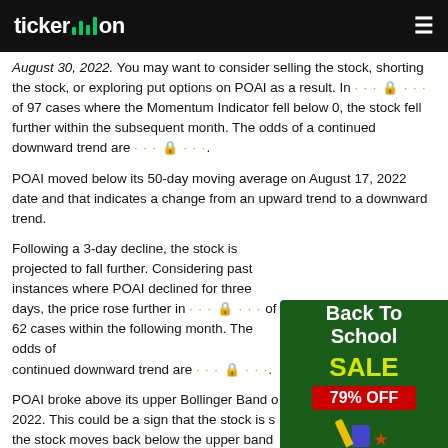ticker.on
August 30, 2022. You may want to consider selling the stock, shorting the stock, or exploring put options on POAI as a result. In ···🔒··· of 97 cases where the Momentum Indicator fell below 0, the stock fell further within the subsequent month. The odds of a continued downward trend are ···🔒···.
POAI moved below its 50-day moving average on August 17, 2022 date and that indicates a change from an upward trend to a downward trend.
Following a 3-day decline, the stock is projected to fall further. Considering past instances where POAI declined for three days, the price rose further in ···🔒··· of 62 cases within the following month. The odds of a continued downward trend are ···🔒···.
POAI broke above its upper Bollinger Band on August 2022. This could be a sign that the stock is stretched. If the stock moves back below the upper band, it may fall toward the middle band. You may want to consider shorting the stock or exploring put options.
[Figure (other): Back To School SALE 79% OFF advertisement banner in dark green with yellow and red text]